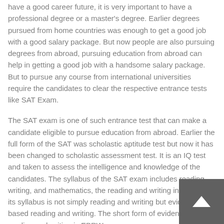have a good career future, it is very important to have a professional degree or a master's degree. Earlier degrees pursued from home countries was enough to get a good job with a good salary package. But now people are also pursuing degrees from abroad, pursuing education from abroad can help in getting a good job with a handsome salary package. But to pursue any course from international universities require the candidates to clear the respective entrance tests like SAT Exam.
The SAT exam is one of such entrance test that can make a candidate eligible to pursue education from abroad. Earlier the full form of the SAT was scholastic aptitude test but now it has been changed to scholastic assessment test. It is an IQ test and taken to assess the intelligence and knowledge of the candidates. The syllabus of the SAT exam includes reading, writing, and mathematics, the reading and writing included in its syllabus is not simply reading and writing but evidence-based reading and writing. The short form of evidence-based reading and writing is EBRW.